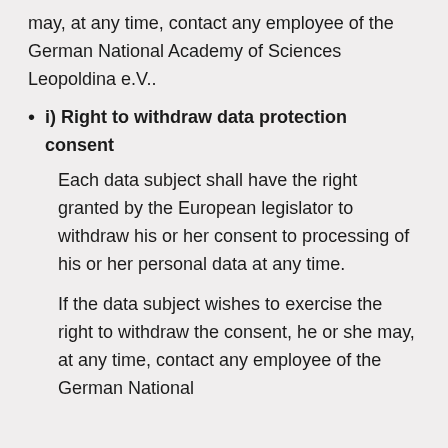may, at any time, contact any employee of the German National Academy of Sciences Leopoldina e.V..
i) Right to withdraw data protection consent
Each data subject shall have the right granted by the European legislator to withdraw his or her consent to processing of his or her personal data at any time.
If the data subject wishes to exercise the right to withdraw the consent, he or she may, at any time, contact any employee of the German National Academy of Sciences Leopoldina e.V..